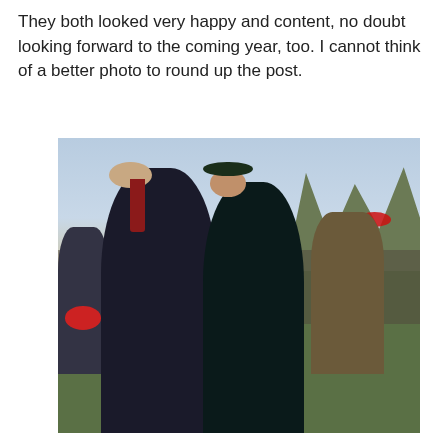They both looked very happy and content, no doubt looking forward to the coming year, too. I cannot think of a better photo to round up the post.
[Figure (photo): A man and a woman walking outdoors in dark winter coats. The man is on the left wearing a dark overcoat and red tie; the woman is on the right wearing a dark coat and dark green hat. A crowd of people is visible in the background, some wearing red items. Trees and sky visible in the background.]